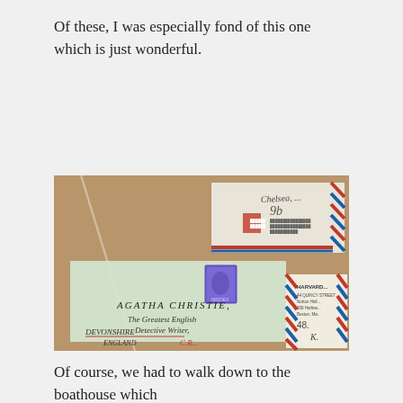Of these, I was especially fond of this one which is just wonderful.
[Figure (photo): Photograph of letters/envelopes displayed in a glass case. The central envelope is addressed to 'Agatha Christie, The Greatest English Detective Writer, Devonshire, England' with a postage stamp. Other envelopes visible including one with 'Chelsea' address and a Harvard University envelope on the right.]
Of course, we had to walk down to the boathouse which